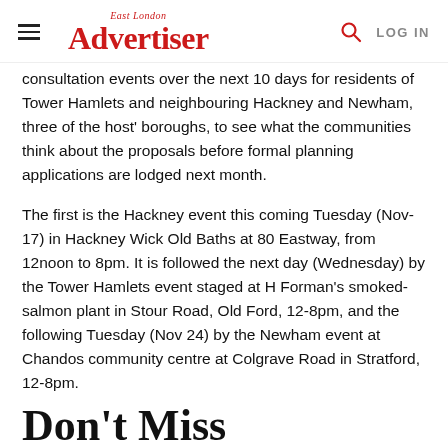East London Advertiser
consultation events over the next 10 days for residents of Tower Hamlets and neighbouring Hackney and Newham, three of the host' boroughs, to see what the communities think about the proposals before formal planning applications are lodged next month.
The first is the Hackney event this coming Tuesday (Nov-17) in Hackney Wick Old Baths at 80 Eastway, from 12noon to 8pm. It is followed the next day (Wednesday) by the Tower Hamlets event staged at H Forman's smoked-salmon plant in Stour Road, Old Ford, 12-8pm, and the following Tuesday (Nov 24) by the Newham event at Chandos community centre at Colgrave Road in Stratford, 12-8pm.
Don't Miss